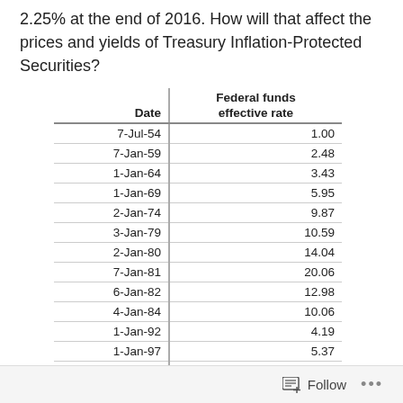2.25% at the end of 2016. How will that affect the prices and yields of Treasury Inflation-Protected Securities?
| Date | Federal funds effective rate |
| --- | --- |
| 7-Jul-54 | 1.00 |
| 7-Jan-59 | 2.48 |
| 1-Jan-64 | 3.43 |
| 1-Jan-69 | 5.95 |
| 2-Jan-74 | 9.87 |
| 3-Jan-79 | 10.59 |
| 2-Jan-80 | 14.04 |
| 7-Jan-81 | 20.06 |
| 6-Jan-82 | 12.98 |
| 4-Jan-84 | 10.06 |
| 1-Jan-92 | 4.19 |
| 1-Jan-97 | 5.37 |
| 5-Jan-00 | 4.72 |
| 3-Jan-01 | 5.88 |
| 2-Jan-02 | 1.63 |
Follow ...